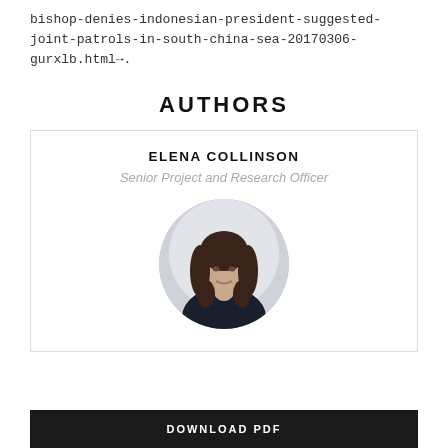bishop-denies-indonesian-president-suggested-joint-patrols-in-south-china-sea-20170306-gurxlb.html→.
AUTHORS
ELENA COLLINSON
Senior Project and Research Officer
[Figure (photo): Circular portrait photo of Elena Collinson, a woman with long dark hair wearing a dark top, against a light background.]
DOWNLOAD PDF